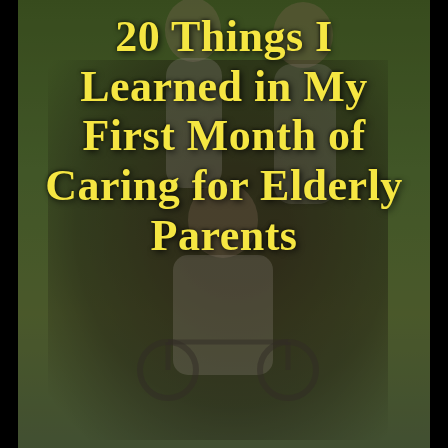[Figure (photo): Darkened outdoor photo of elderly man seated in wheelchair with two women (likely daughters or caregivers) standing behind him on a grassy background. Image has dark overlay filter applied.]
20 Things I Learned in My First Month of Caring for Elderly Parents